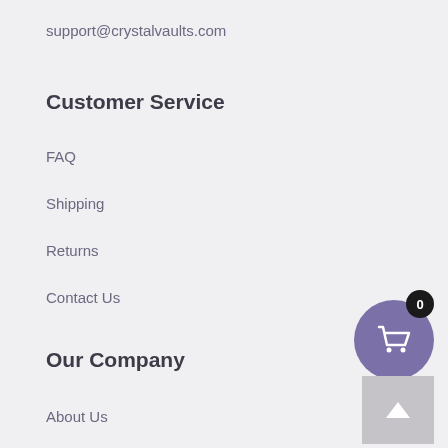support@crystalvaults.com
Customer Service
FAQ
Shipping
Returns
Contact Us
Our Company
About Us
Our Blog
Reviews
Linking to Us
[Figure (other): Shopping cart button with purple circle and badge showing 0 items, plus a scroll-to-top button with upward arrow]